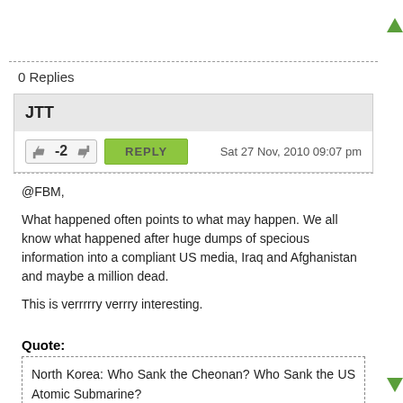0 Replies
JTT
Sat 27 Nov, 2010 09:07 pm
@FBM,
What happened often points to what may happen. We all know what happened after huge dumps of specious information into a compliant US media, Iraq and Afghanistan and maybe a million dead.

This is verrrrry verrry interesting.
Quote:
North Korea: Who Sank the Cheonan? Who Sank the US Atomic Submarine?
The sinking of the US submarine was not reported

by Tanaka Sakai